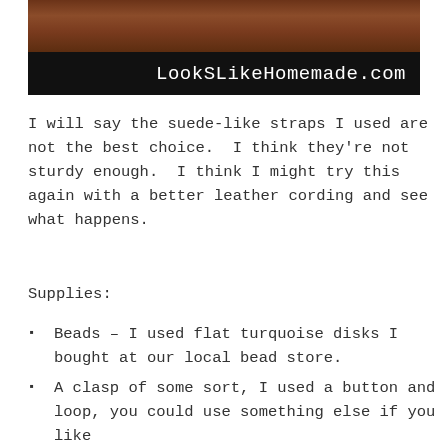[Figure (photo): Photo of a wooden surface with a black banner at the bottom showing the website name LookSLikeHomemade.com in white text]
I will say the suede-like straps I used are not the best choice.  I think they're not sturdy enough.  I think I might try this again with a better leather cording and see what happens.
Supplies:
Beads – I used flat turquoise disks I bought at our local bead store.
A clasp of some sort, I used a button and loop, you could use something else if you like
Heavy duty thread and a needle.  Your thread and